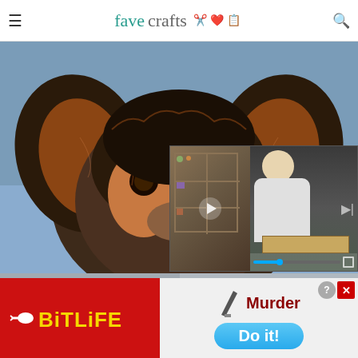favecrafts
[Figure (photo): Close-up photo of a small Yorkshire Terrier puppy with brown and black fur, looking at camera, held by someone in blue clothing. A video overlay in the bottom-right shows a woman standing at a table with a wooden shelf behind her, with a progress bar at the bottom.]
Dog have loose stools firmer in 24 hours.
Hill's Pet
[Figure (screenshot): BitLife app advertisement with red background and yellow BitLife logo text with arrow/sperm icon]
[Figure (screenshot): Murder - Do it! game advertisement with knife graphic, dark red Murder text, and blue Do it! button]